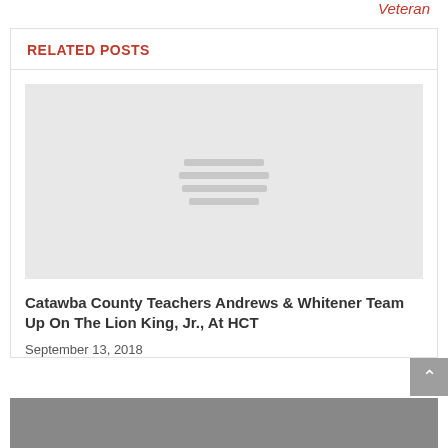Veteran
RELATED POSTS
[Figure (photo): Placeholder image with gray background and three horizontal lines icon indicating an image that has not loaded]
Catawba County Teachers Andrews & Whitener Team Up On The Lion King, Jr., At HCT
September 13, 2018
[Figure (photo): Partially visible black and white photo at the bottom of the page]